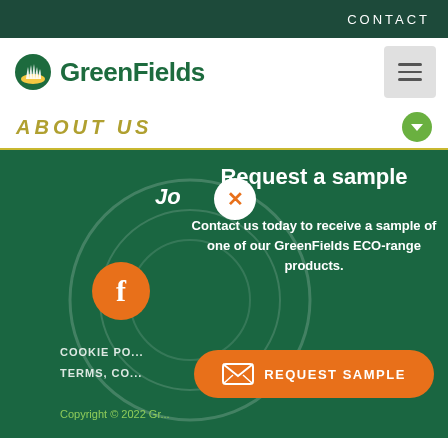CONTACT
[Figure (logo): GreenFields logo with circular grass icon and green text]
ABOUT US
[Figure (screenshot): GreenFields website screenshot showing a dark green section with a request a sample popup overlay, Facebook button, close button, cookie policy and terms links, and copyright notice]
Request a sample
Contact us today to receive a sample of one of our GreenFields ECO-range products.
REQUEST SAMPLE
COOKIE POLICY   TERMS, CO...   Copyright © 2022 Gr...